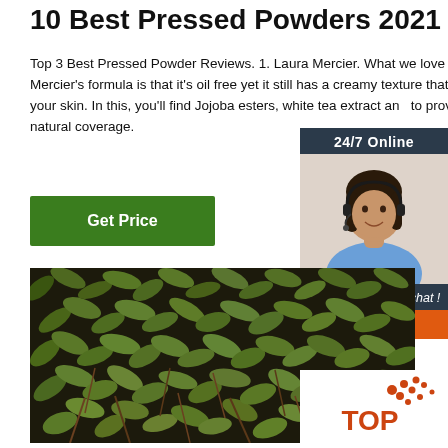10 Best Pressed Powders 2021
Top 3 Best Pressed Powder Reviews. 1. Laura Mercier. What we love about Laura Mercier's formula is that it's oil free yet it still has a creamy texture that glides right over your skin. In this, you'll find Jojoba esters, white tea extract and to provide you with more natural coverage.
[Figure (other): Green button with text 'Get Price']
[Figure (other): Advertisement sidebar: 24/7 Online chat agent with photo, 'Click here for free chat!' and orange QUOTATION button]
[Figure (photo): Close-up photo of green leafy plants/herbs with brown stems on dark soil]
[Figure (logo): TOP logo with orange dot-triangle graphic in bottom right corner]